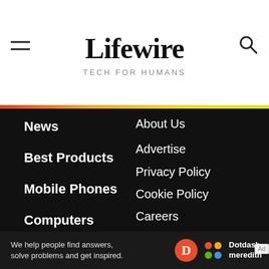Lifewire TECH FOR HUMANS
News
Best Products
Mobile Phones
Computers
[Figure (logo): Privacy Feedback badge - Powered by TRUSTe]
About Us
Advertise
Privacy Policy
Cookie Policy
Careers
Editorial Guidelines
Contact
Terms of Use
Do Not Sell My Personal Information
We help people find answers, solve problems and get inspired. Dotdash meredith